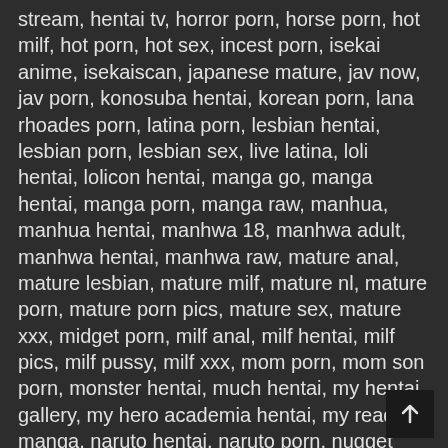stream, hentai tv, horror porn, horse porn, hot milf, hot porn, hot sex, incest porn, isekai anime, isekaiscan, japanese mature, jav now, jav porn, konosuba hentai, korean porn, lana rhoades porn, latina porn, lesbian hentai, lesbian porn, lesbian sex, live latina, loli hentai, lolicon hentai, manga go, manga hentai, manga porn, manga raw, manhua, manhua hentai, manhwa 18, manhwa adult, manhwa hentai, manhwa raw, mature anal, mature lesbian, mature milf, mature nl, mature porn, mature porn pics, mature sex, mature xxx, midget porn, milf anal, milf hentai, milf pics, milf pussy, milf xxx, mom porn, mom son porn, monster hentai, much hentai, my hentai gallery, my hero academia hentai, my reading manga, naruto hentai, naruto porn, nugget porn, one piece hentai, pokemon hentai, porn comics, porn for women, porn hu, porn hub gay, porn hup, porn manhwa, porn memes, porn sex, porn star, porn webtoon, porn xnxx, pornhub hentai, pov porn, pregnant porn, public porn, puffy nipples, pure mature, pussy porn, r manga, rape hentai, reddit hentai, retro porn, revenge porn, romantic porn, rule 34 hentai, safe porn, sex dolls, sex manga, sex memes, sex stories, sex xxx, sfm porn, shemale